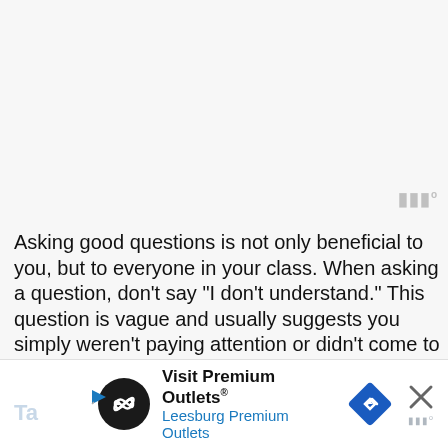Asking good questions is not only beneficial to you, but to everyone in your class. When asking a question, don't say "I don't understand." This question is vague and usually suggests you simply weren't paying attention or didn't come to class prepared. Ask clarifying questions about processes or concepts that will provide you, and your classmates, with a better understanding of geology. An example of a clarifying question might be: "What characteristics of pillow lava cause it to be classified as an igneous rock?"
[Figure (other): Advertisement banner: Visit Premium Outlets® Leesburg Premium Outlets, with a circular logo, blue diamond navigation arrow, and close (X) button.]